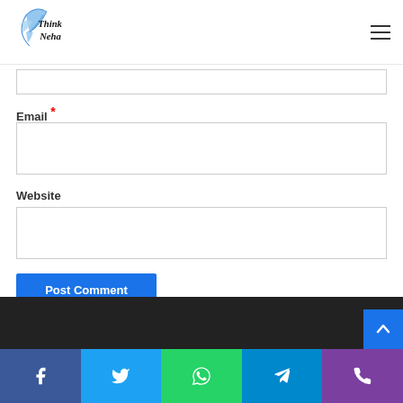[Figure (logo): Think Neha logo with blue feather/quill graphic and cursive text]
Email *
Website
Post Comment
Social share bar: Facebook, Twitter, WhatsApp, Telegram, Phone